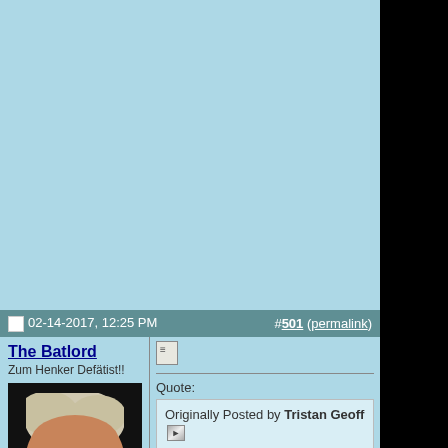[Figure (other): Light blue banner/advertisement area at the top of a forum page]
02-14-2017, 12:25 PM   #501 (permalink)
The Batlord
Zum Henker Defätist!!
[Figure (photo): Photo of an older man with white hair, eyes closed, smiling, with red laser-eye glasses overlay effect added]
Quote:
Originally Posted by Tristan Geoff — Every "serious anime fan" I've ever met loathes the series and claims it's Americanized garbage or too non-serious. I don't see a problem with either thing but, eh.